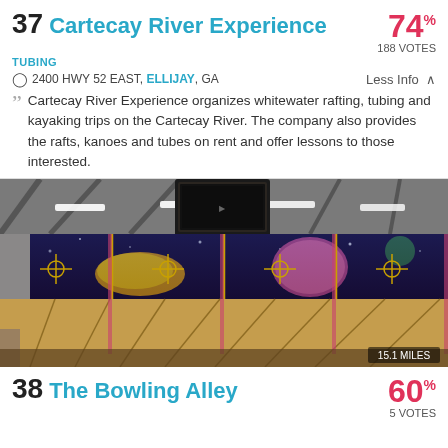37 Cartecay River Experience
74% 188 VOTES
TUBING
2400 HWY 52 EAST, ELLIJAY, GA    Less Info ^
Cartecay River Experience organizes whitewater rafting, tubing and kayaking trips on the Cartecay River. The company also provides the rafts, kanoes and tubes on rent and offer lessons to those interested.
[Figure (photo): Interior view of a bowling alley showing lanes with colorful cosmic/space-themed mural artwork on back wall, fluorescent overhead lighting, and a TV monitor mounted overhead. Distance badge reads 15.1 MILES.]
38 The Bowling Alley
60% 5 VOTES